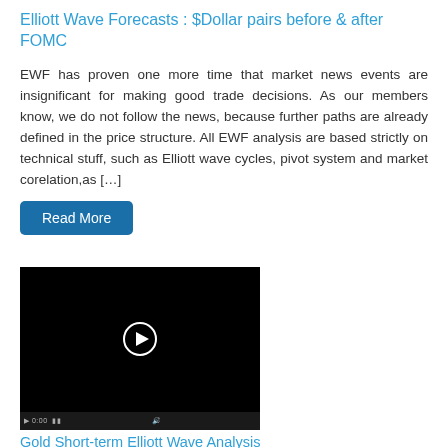Elliott Wave Forecasts : $Dollar pairs before & after FOMC
EWF has proven one more time that market news events are insignificant for making good trade decisions. As our members know, we do not follow the news, because further paths are already defined in the price structure. All EWF analysis are based strictly on technical stuff, such as Elliott wave cycles, pivot system and market corelation,as […]
Read More
[Figure (screenshot): A video player showing a black screen with a circular play button in the center, and a video control bar at the bottom.]
Gold Short-term Elliott Wave Analysis
In today's video we present Elliott Wave Analysis